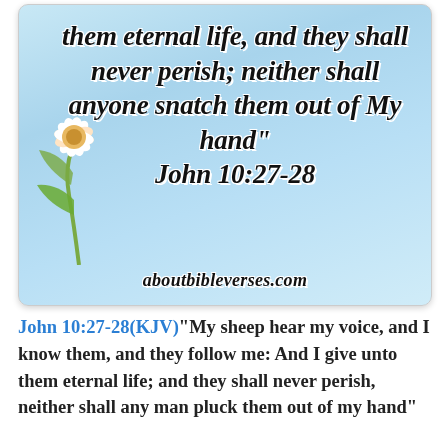[Figure (illustration): Scripture verse card with light blue sky background and daisy flower decoration. Text reads: 'them eternal life, and they shall never perish; neither shall anyone snatch them out of My hand" John 10:27-28' with website 'aboutbibleverses.com' at the bottom.]
John 10:27-28(KJV)"My sheep hear my voice, and I know them, and they follow me: And I give unto them eternal life; and they shall never perish, neither shall any man pluck them out of my hand"